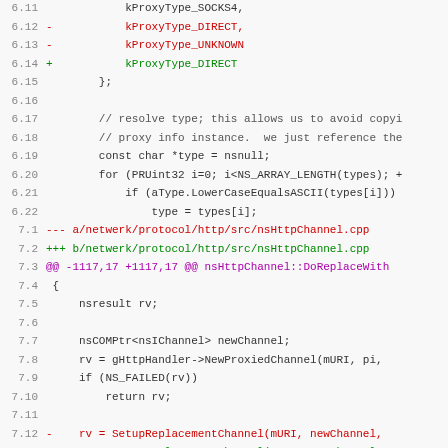[Figure (screenshot): Code diff showing changes to nsHttpChannel.cpp and related proxy type enumerations, displayed as a syntax-highlighted diff with line numbers, red lines for removals, green for additions, and purple for diff headers.]